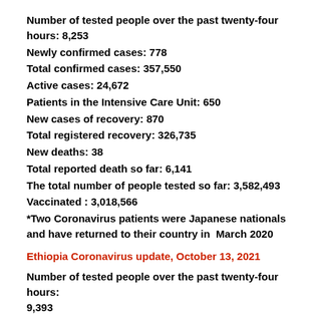Number of tested people over the past twenty-four hours: 8,253
Newly confirmed cases: 778
Total confirmed cases: 357,550
Active cases: 24,672
Patients in the Intensive Care Unit: 650
New cases of recovery: 870
Total registered recovery: 326,735
New deaths: 38
Total reported death so far: 6,141
The total number of people tested so far: 3,582,493
Vaccinated : 3,018,566
*Two Coronavirus patients were Japanese nationals and have returned to their country in  March 2020
Ethiopia Coronavirus update, October 13, 2021
Number of tested people over the past twenty-four hours: 9,393